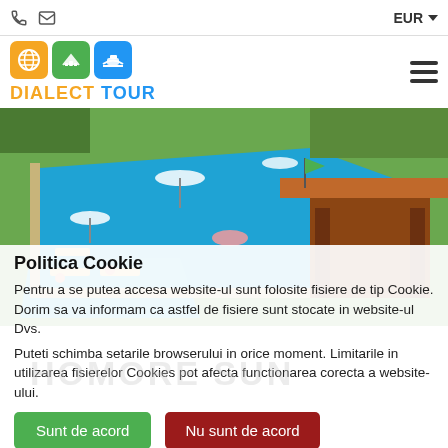EUR
[Figure (logo): Dialect Tour logo with globe, airplane, and cruise ship icons in orange, green, and blue squares]
[Figure (photo): Aerial view of a hotel pool area with sunbathers, umbrellas, lounge chairs, and a wooden gazebo]
Politica Cookie
Pentru a se putea accesa website-ul sunt folosite fisiere de tip Cookie. Dorim sa va informam ca astfel de fisiere sunt stocate in website-ul Dvs.
Puteti schimba setarile browserului in orice moment. Limitarile in utilizarea fisierelor Cookies pot afecta functionarea corecta a website-ului.
Sunt de acord
Nu sunt de acord